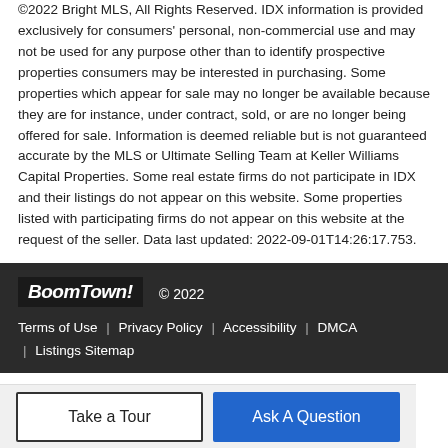©2022 Bright MLS, All Rights Reserved. IDX information is provided exclusively for consumers' personal, non-commercial use and may not be used for any purpose other than to identify prospective properties consumers may be interested in purchasing. Some properties which appear for sale may no longer be available because they are for instance, under contract, sold, or are no longer being offered for sale. Information is deemed reliable but is not guaranteed accurate by the MLS or Ultimate Selling Team at Keller Williams Capital Properties. Some real estate firms do not participate in IDX and their listings do not appear on this website. Some properties listed with participating firms do not appear on this website at the request of the seller. Data last updated: 2022-09-01T14:26:17.753.
BoomTown! © 2022 | Terms of Use | Privacy Policy | Accessibility | DMCA | Listings Sitemap
Take a Tour | Ask A Question